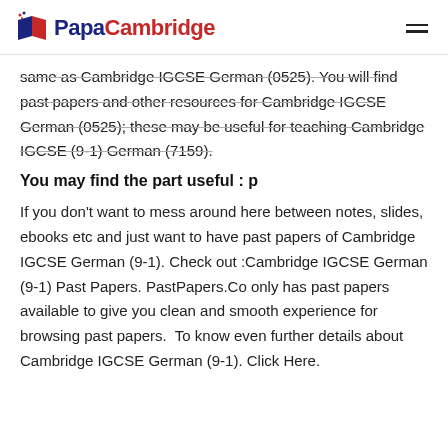PapaCambridge
same as Cambridge IGCSE German (0525). You will find past papers and other resources for Cambridge IGCSE German (0525); these may be useful for teaching Cambridge IGCSE (9-1) German (7159).
You may find the part useful : p
If you don't want to mess around here between notes, slides, ebooks etc and just want to have past papers of Cambridge IGCSE German (9-1). Check out :Cambridge IGCSE German (9-1) Past Papers. PastPapers.Co only has past papers available to give you clean and smooth experience for browsing past papers.  To know even further details about Cambridge IGCSE German (9-1). Click Here.